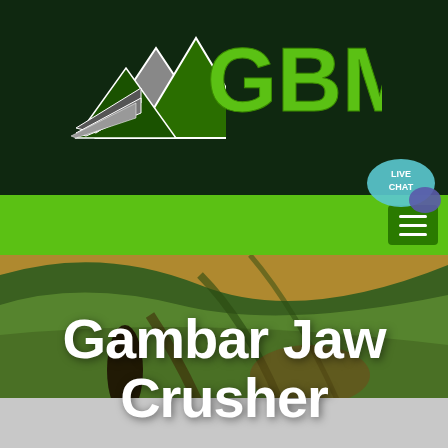[Figure (logo): GBM company logo with mountain/triangle graphic and green GBM text on dark green header background]
[Figure (photo): Aerial view of rolling green and golden fields with dramatic lighting and trees, serving as hero background image]
Gambar Jaw Crusher